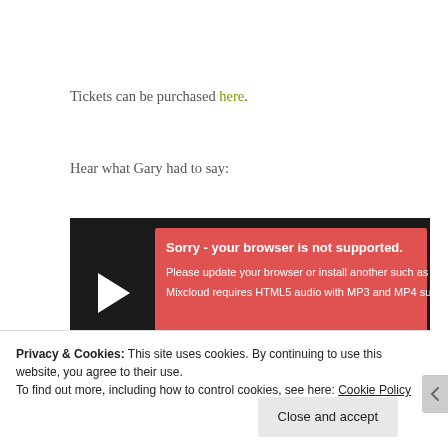Tickets can be purchased here.
Hear what Gary had to say:
[Figure (screenshot): Embedded Mixcloud audio player with dark background showing play button, progress bar at 00:00, duration -11:07, and a red error overlay saying 'Sorry - your browser is not supported. Please update your browser or install another such as Gr... Mixcloud requires HTML5 audio with MP3 and MP4 supp...']
Privacy & Cookies: This site uses cookies. By continuing to use this website, you agree to their use.
To find out more, including how to control cookies, see here: Cookie Policy
Close and accept